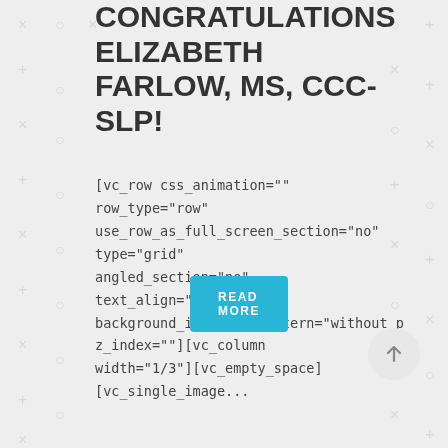CONGRATULATIONS ELIZABETH FARLOW, MS, CCC-SLP!
[vc_row css_animation="" row_type="row" use_row_as_full_screen_section="no" type="grid" angled_section="no" text_align="left" background_image_as_pattern="without_p z_index=""][vc_column width="1/3"][vc_empty_space] [vc_single_image...
READ MORE